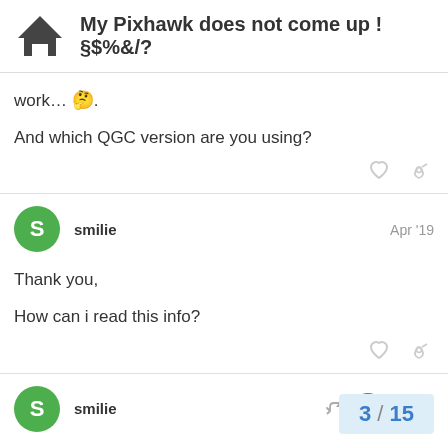My Pixhawk does not come up !§$%&/?
work… 🤔.
And which QGC version are you using?
smilie  Apr '19
Thank you,

How can i read this info?
smilie  Apr '19
I have also the possibility for Mission Plan…
3 / 15